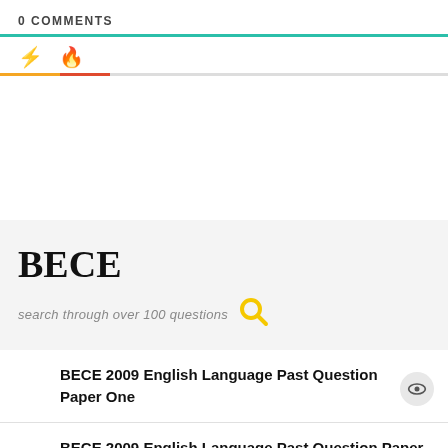0 COMMENTS
search through over 100 questions
BECE
BECE 2009 English Language Past Question Paper One
BECE 2009 English Language Past Question Paper